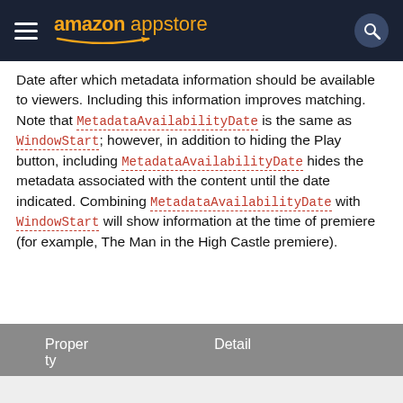amazon appstore
Date after which metadata information should be available to viewers. Including this information improves matching. Note that MetadataAvailabilityDate is the same as WindowStart; however, in addition to hiding the Play button, including MetadataAvailabilityDate hides the metadata associated with the content until the date indicated. Combining MetadataAvailabilityDate with WindowStart will show information at the time of premiere (for example, The Man in the High Castle premiere).
| Property | Detail |
| --- | --- |